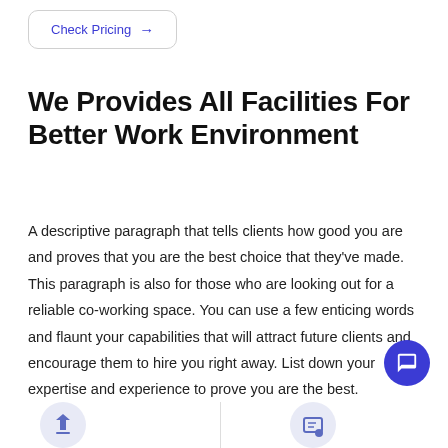Check Pricing →
We Provides All Facilities For Better Work Environment
A descriptive paragraph that tells clients how good you are and proves that you are the best choice that they've made. This paragraph is also for those who are looking out for a reliable co-working space. You can use a few enticing words and flaunt your capabilities that will attract future clients and encourage them to hire you right away. List down your expertise and experience to prove you are the best.
[Figure (illustration): Blue circular chat/message button icon in bottom right]
[Figure (illustration): Icon at bottom left area]
[Figure (illustration): Icon at bottom center-right area]